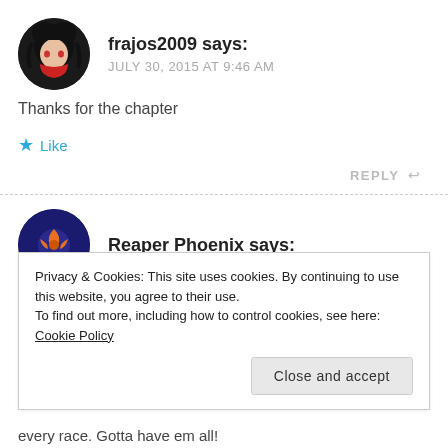frajos2009 says: JULY 30, 2015 AT 9:46 AM
Thanks for the chapter
★ Like
REPLY ↩
Reaper Phoenix says:
Privacy & Cookies: This site uses cookies. By continuing to use this website, you agree to their use.
To find out more, including how to control cookies, see here: Cookie Policy
Close and accept
every race. Gotta have em all!